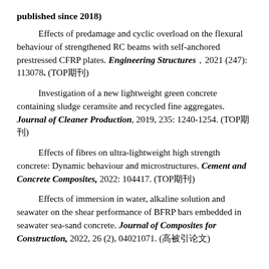published since 2018)
Effects of predamage and cyclic overload on the flexural behaviour of strengthened RC beams with self-anchored prestressed CFRP plates. Engineering Structures，2021 (247): 113078. (TOP期刊)
Investigation of a new lightweight green concrete containing sludge ceramsite and recycled fine aggregates. Journal of Cleaner Production, 2019, 235: 1240-1254. (TOP期刊)
Effects of fibres on ultra-lightweight high strength concrete: Dynamic behaviour and microstructures. Cement and Concrete Composites, 2022: 104417. (TOP期刊)
Effects of immersion in water, alkaline solution and seawater on the shear performance of BFRP bars embedded in seawater sea-sand concrete. Journal of Composites for Construction, 2022, 26 (2), 04021071. (高被引论文)